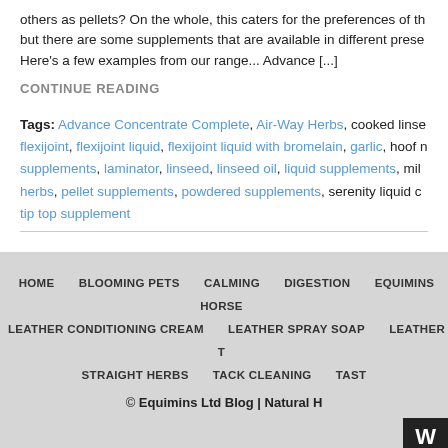others as pellets? On the whole, this caters for the preferences of the horse, but there are some supplements that are available in different presentations. Here's a few examples from our range... Advance [...]
CONTINUE READING
Tags: Advance Concentrate Complete, Air-Way Herbs, cooked linseed, flexijoint, flexijoint liquid, flexijoint liquid with bromelain, garlic, hoof supplements, laminator, linseed, linseed oil, liquid supplements, mill herbs, pellet supplements, powdered supplements, serenity liquid calm, tip top supplement
HOME  BLOOMING PETS  CALMING  DIGESTION  EQUIMINS HORSE  LEATHER CONDITIONING CREAM  LEATHER SPRAY SOAP  LEATHER T  STRAIGHT HERBS  TACK CLEANING  TAST
© Equimins Ltd Blog | Natural H